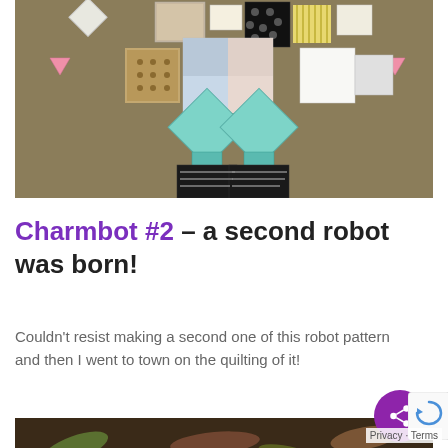[Figure (photo): A patchwork quilt robot design on khaki/tan fabric background with colorful fabric squares, diamonds, and shapes forming a robot figure. Teal diamond shapes form the hands/arms area, black rectangular blocks at the bottom form feet.]
Charmbot #2 – a second robot was born!
Couldn't resist making a second one of this robot pattern and then I went to town on the quilting of it!
[Figure (photo): Bottom portion of a photo showing autumn leaves and what appears to be mushrooms or similar natural objects on the ground.]